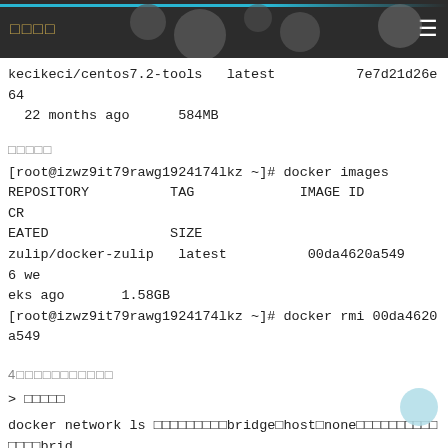□□□□
kecikeci/centos7.2-tools   latest          7e7d21d26e64
  22 months ago      584MB
□□□□□
[root@izwz9it79rawg1924174lkz ~]# docker images
REPOSITORY          TAG             IMAGE ID            CR
EATED               SIZE
zulip/docker-zulip   latest          00da4620a549        6 we
eks ago       1.58GB
[root@izwz9it79rawg1924174lkz ~]# docker rmi 00da4620
a549
4□□□□□□□□□□□
> □□□□□
docker network ls □□□□□□□□□bridge□host□none□□□□□□□□□□□□□□brid